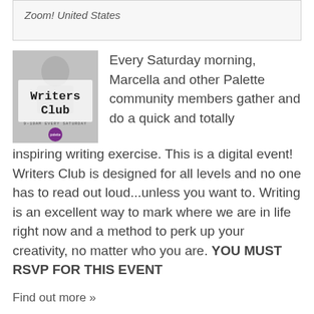Zoom! United States
[Figure (illustration): Writers Club event poster with typewriter-style text 'Writers Club', subtitle '9-10AM EVERY SATURDAY', and a purple circular logo at bottom]
Every Saturday morning, Marcella and other Palette community members gather and do a quick and totally inspiring writing exercise. This is a digital event! Writers Club is designed for all levels and no one has to read out loud...unless you want to. Writing is an excellent way to mark where we are in life right now and a method to perk up your creativity, no matter who you are. YOU MUST RSVP FOR THIS EVENT
Find out more »
Writers Club